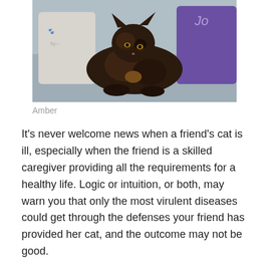[Figure (photo): A tortoiseshell cat resting on a gray sofa with decorative pillows, one white and one purple, in the background.]
Amber
It’s never welcome news when a friend’s cat is ill, especially when the friend is a skilled caregiver providing all the requirements for a healthy life. Logic or intuition, or both, may warn you that only the most virulent diseases could get through the defenses your friend has provided her cat, and the outcome may not be good.
Yesterday our friend Ingrid King said goodbye to her precious Amber. Ingrid always described Amber as “a wise old soul in a feline body”, quiet, loving, gentle, purring